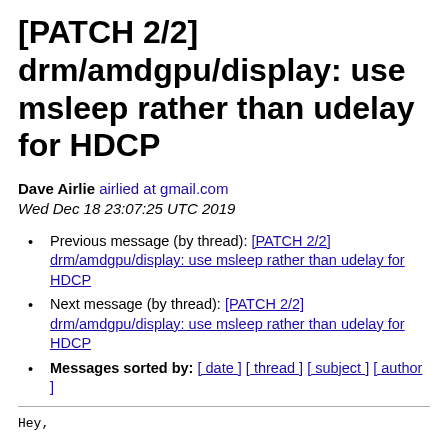[PATCH 2/2] drm/amdgpu/display: use msleep rather than udelay for HDCP
Dave Airlie airlied at gmail.com
Wed Dec 18 23:07:25 UTC 2019
Previous message (by thread): [PATCH 2/2] drm/amdgpu/display: use msleep rather than udelay for HDCP
Next message (by thread): [PATCH 2/2] drm/amdgpu/display: use msleep rather than udelay for HDCP
Messages sorted by: [ date ] [ thread ] [ subject ] [ author ]
Hey,

I've pulled in these two patches to drm-next directly
because my arm